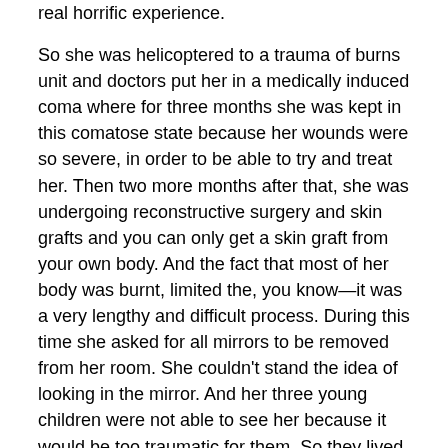real horrific experience.
So she was helicoptered to a trauma of burns unit and doctors put her in a medically induced coma where for three months she was kept in this comatose state because her wounds were so severe, in order to be able to try and treat her. Then two more months after that, she was undergoing reconstructive surgery and skin grafts and you can only get a skin graft from your own body. And the fact that most of her body was burnt, limited the, you know—it was a very lengthy and difficult process. During this time she asked for all mirrors to be removed from her room. She couldn't stand the idea of looking in the mirror. And her three young children were not able to see her because it would be too traumatic for them. So they lived with her sister and she felt heartbroken at her youngest child, a boy, would now refer to her sister as Mummy. So, you know, she was really into the mother thing and she really enjoyed motherhood. And so she wanted more than anything to be able to be reunited with her children again.
And finally on the day that it was organized, they let the eldest daughter , who was still very young, into the room first.